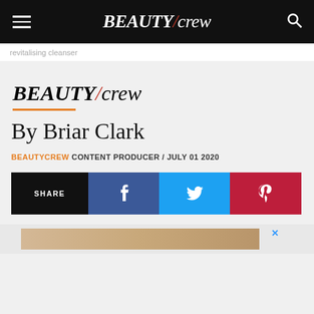BEAUTY/crew
revitalising cleanser
[Figure (logo): BEAUTY/crew logo in black italic serif font]
By Briar Clark
BEAUTYCREW CONTENT PRODUCER / JULY 01 2020
[Figure (infographic): Social share bar with SHARE, Facebook, Twitter, and Pinterest buttons]
[Figure (other): Advertisement banner strip with wood-tone background]